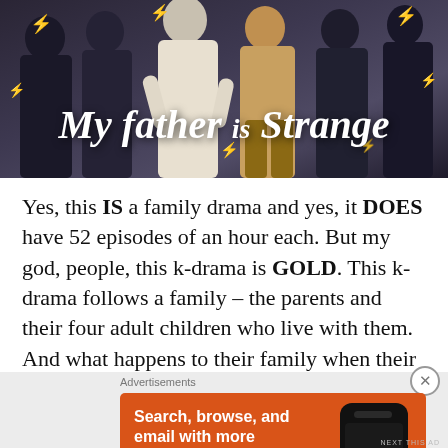[Figure (photo): Show banner image for 'My Father is Strange' Korean drama, showing multiple people/cast members with lightning bolt decorations and the show title in white stylized italic font]
Yes, this IS a family drama and yes, it DOES have 52 episodes of an hour each. But my god, people, this k-drama is GOLD. This k-drama follows a family – the parents and their four adult children who live with them. And what happens to their family when their father's past
Advertisements
[Figure (screenshot): DuckDuckGo advertisement on orange background: 'Search, browse, and email with more privacy. All in One Free App' with phone mockup showing DuckDuckGo logo]